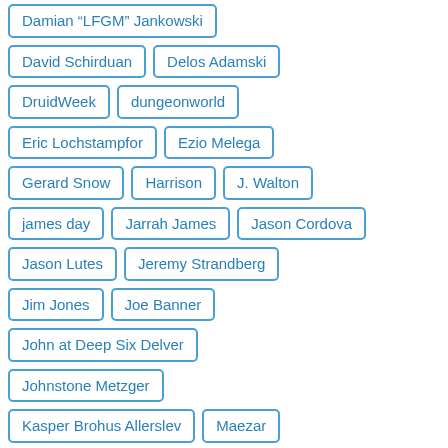Damian “LFGM” Jankowski
David Schirduan
Delos Adamski
DruidWeek
dungeonworld
Eric Lochstampfor
Ezio Melega
Gerard Snow
Harrison
J. Walton
james day
Jarrah James
Jason Cordova
Jason Lutes
Jeremy Strandberg
Jim Jones
Joe Banner
John at Deep Six Delver
Johnstone Metzger
Kasper Brohus Allerslev
Maezar